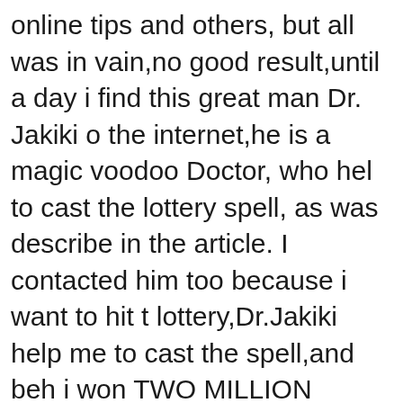online tips and others, but all was in vain,no good result,until a day i find this great man Dr. Jakiki on the internet,he is a magic voodoo Doctor, who helped to cast the lottery spell, as was describe in the article. I contacted him too because i want to hit the lottery,Dr.Jakiki help me to cast the spell,and behold i won TWO MILLION DOLLARS Dr. Jakiki truly you are the best and your spell is genuine and cost no harm. I got my bills paid and my debt cleared. Guys contact him for your winning numbers today because he is the only Voodoo doctor here in United States that can help you. Spellcasthome@gmail.com Or Spellcasthome@yahoo.com

His web: http://spellcasthome.blogspot.com